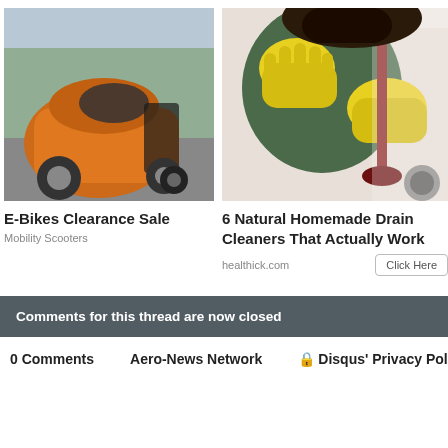[Figure (photo): Orange electric three-wheeled vehicle driving on a road with trees in background]
E-Bikes Clearance Sale
Mobility Scooters
[Figure (photo): Person wearing yellow rubber gloves using a plunger on a bathtub drain]
6 Natural Homemade Drain Cleaners That Actually Work
healthick.com
Click Here
Comments for this thread are now closed
0 Comments    Aero-News Network    Disqus' Privacy Pol...